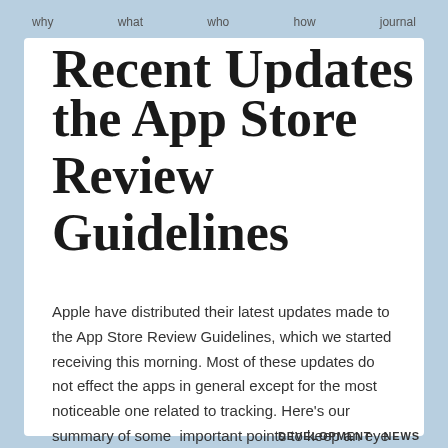why   what   who   how   journal
Recent Updates to the App Store Review Guidelines
Apple have distributed their latest updates made to the App Store Review Guidelines, which we started receiving this morning. Most of these updates do not effect the apps in general except for the most noticeable one related to tracking. Here's our summary of some  important points to keep an eye out for.
DEVELOPMENT   NEWS